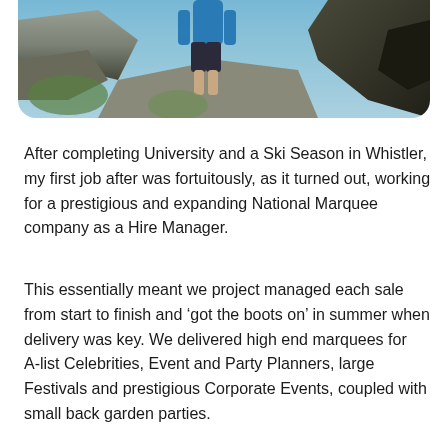[Figure (photo): Partial photo of a person standing on rocks outdoors, wearing a blue top and dark shorts. Rocky landscape visible around them. Photo is cropped showing lower body and surroundings.]
After completing University and a Ski Season in Whistler, my first job after was fortuitously, as it turned out, working for a prestigious and expanding National Marquee company as a Hire Manager.
This essentially meant we project managed each sale from start to finish and ‘got the boots on’ in summer when delivery was key. We delivered high end marquees for A-list Celebrities, Event and Party Planners, large Festivals and prestigious Corporate Events, coupled with small back garden parties.